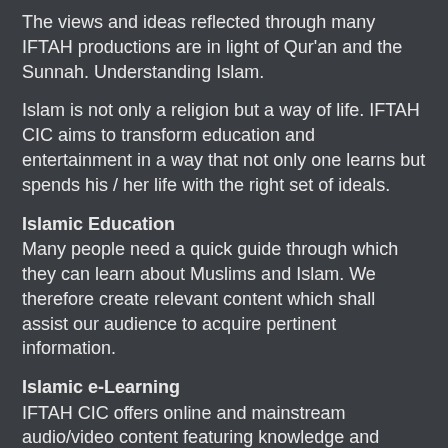The views and ideas reflected through many IFTAH productions are in light of Qur'an and the Sunnah. Understanding Islam.
Islam is not only a religion but a way of life. IFTAH CIC aims to transform education and entertainment in a way that not only one learns but spends his / her life with the right set of ideals.
Islamic Education
Many people need a quick guide through which they can learn about Muslims and Islam. We therefore create relevant content which shall assist our audience to acquire pertinent information.
Islamic e-Learning
IFTAH CIC offers online and mainstream audio/video content featuring knowledge and views collected by expert scholars so that our audience can get the right perspective and learn how one can apply principles to improve himself /